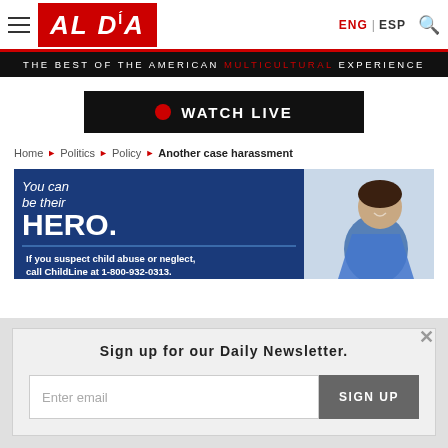AL DÍA | ENG | ESP
THE BEST OF THE AMERICAN MULTICULTURAL EXPERIENCE
WATCH LIVE
Home › Politics › Policy › Another case harassment
[Figure (photo): Advertisement banner: You can be their HERO. If you suspect child abuse or neglect, call ChildLine at 1-800-932-0313. Shows a smiling girl in a blue superhero cape.]
Sign up for our Daily Newsletter.
Enter email
SIGN UP